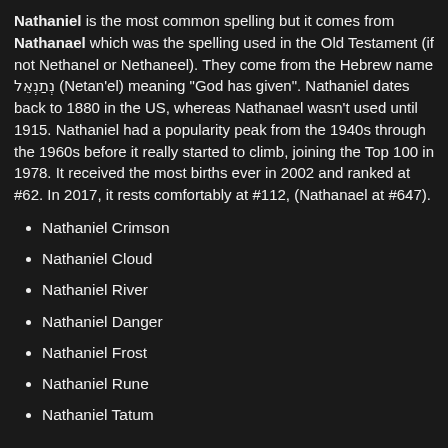Nathaniel is the most common spelling but it comes from Nathanael which was the spelling used in the Old Testament (if not Nethanel or Nethaneel). They come from the Hebrew name נְתַנְאֵל (Netan'el) meaning "God has given". Nathaniel dates back to 1880 in the US, whereas Nathanael wasn't used until 1915. Nathaniel had a popularity peak from the 1940s through the 1960s before it really started to climb, joining the Top 100 in 1978. It received the most births ever in 2002 and ranked at #62. In 2017, it rests comfortably at #112, (Nathanael at #647).
Nathaniel Crimson
Nathaniel Cloud
Nathaniel River
Nathaniel Danger
Nathaniel Frost
Nathaniel Rune
Nathaniel Tatum